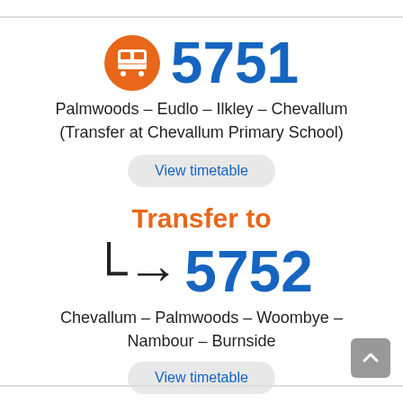5751
Palmwoods – Eudlo – Ilkley – Chevallum (Transfer at Chevallum Primary School)
View timetable
Transfer to
5752
Chevallum – Palmwoods – Woombye – Nambour – Burnside
View timetable